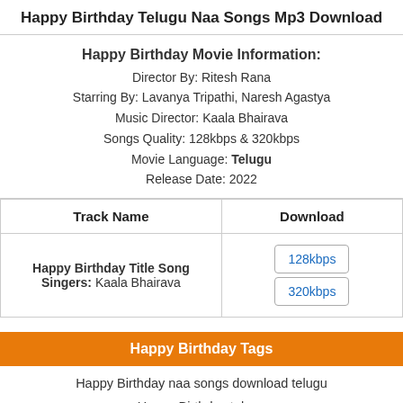Happy Birthday Telugu Naa Songs Mp3 Download
Happy Birthday Movie Information:
Director By: Ritesh Rana
Starring By: Lavanya Tripathi, Naresh Agastya
Music Director: Kaala Bhairava
Songs Quality: 128kbps & 320kbps
Movie Language: Telugu
Release Date: 2022
| Track Name | Download |
| --- | --- |
| Happy Birthday Title Song
Singers: Kaala Bhairava | 128kbps | 320kbps |
Happy Birthday Tags
Happy Birthday naa songs download telugu
Happy Birthday telugu
Naa songs Happy Birthday download